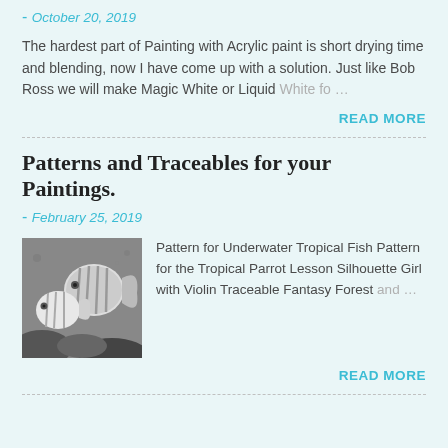- October 20, 2019
The hardest part of Painting with Acrylic paint is short drying time and blending, now I have come up with a solution. Just like Bob Ross we will make Magic White or Liquid White fo …
READ MORE
Patterns and Traceables for your Paintings.
- February 25, 2019
[Figure (photo): Black and white photo of two tropical fish seen from the side]
Pattern for Underwater Tropical Fish Pattern for the Tropical Parrot Lesson Silhouette Girl with Violin Traceable Fantasy Forest and …
READ MORE
(partial title visible at bottom)